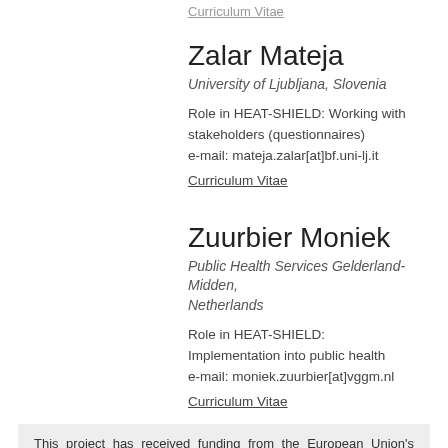Curriculum Vitae
Zalar Mateja
University of Ljubljana, Slovenia
Role in HEAT-SHIELD: Working with stakeholders (questionnaires)
e-mail: mateja.zalar[at]bf.uni-lj.it
Curriculum Vitae
Zuurbier Moniek
Public Health Services Gelderland-Midden, Netherlands
Role in HEAT-SHIELD: Implementation into public health
e-mail: moniek.zuurbier[at]vggm.nl
Curriculum Vitae
This project has received funding from the European Union's Horizon 2020 research and innovation programme under grant agreement No 668786